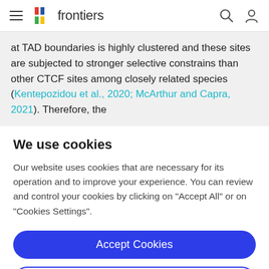frontiers
at TAD boundaries is highly clustered and these sites are subjected to stronger selective constrains than other CTCF sites among closely related species (Kentepozidou et al., 2020; McArthur and Capra, 2021). Therefore, the
We use cookies
Our website uses cookies that are necessary for its operation and to improve your experience. You can review and control your cookies by clicking on "Accept All" or on "Cookies Settings".
Accept Cookies
Cookies Settings